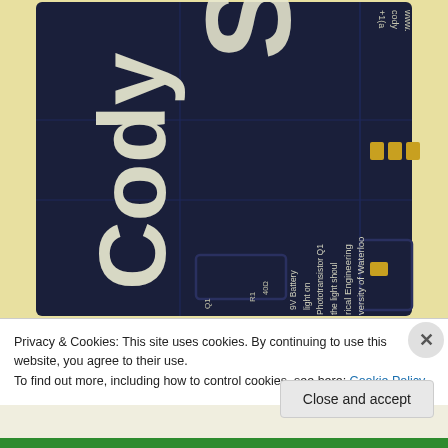[Figure (photo): Close-up photo of a dark navy blue PCB (printed circuit board) with white text and traces. The board shows partial text including 'Cody', 'S', 'www.', 'cody', '+1(', '9V Battery', 'light on', 'Phototransistor Q1', 'the light shoul', 'rical Engineering', 'versity of Waterloo', component labels Q1 and R1, on a yellow/beige background.]
Privacy & Cookies: This site uses cookies. By continuing to use this website, you agree to their use.
To find out more, including how to control cookies, see here: Cookie Policy